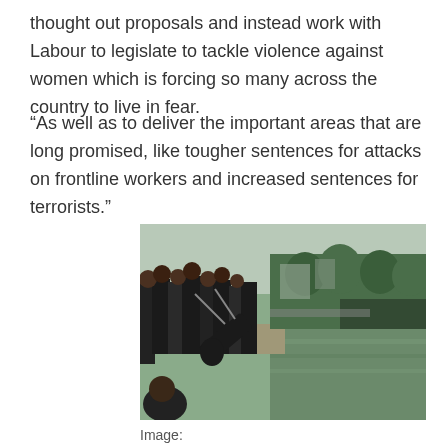thought out proposals and instead work with Labour to legislate to tackle violence against women which is forcing so many across the country to live in fear.
“As well as to deliver the important areas that are long promised, like tougher sentences for attacks on frontline workers and increased sentences for terrorists.”
[Figure (photo): Protesters pulling a statue off a ledge into a river. A crowd of people, some wearing black, are using ropes to topple a large dark statue over a stone waterfront edge into a green-water canal or harbour, with trees and buildings visible in the background.]
Image: